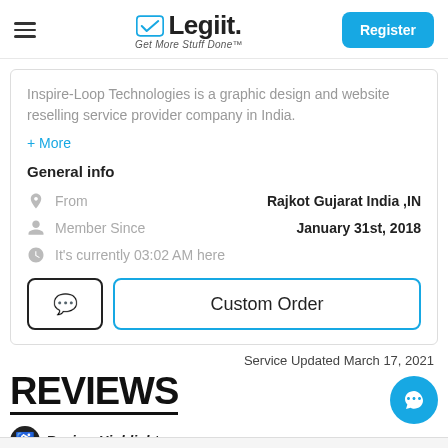[Figure (logo): Legiit logo with checkmark icon and tagline 'Get More Stuff Done']
Inspire-Loop Technologies is a graphic design and website reselling service provider company in India.
+ More
General info
| From | Rajkot Gujarat India ,IN |
| Member Since | January 31st, 2018 |
| It's currently 03:02 AM here |  |
Service Updated March 17, 2021
REVIEWS
Review Highlights